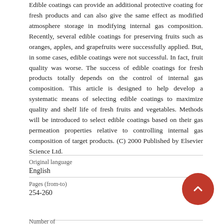Edible coatings can provide an additional protective coating for fresh products and can also give the same effect as modified atmosphere storage in modifying internal gas composition. Recently, several edible coatings for preserving fruits such as oranges, apples, and grapefruits were successfully applied. But, in some cases, edible coatings were not successful. In fact, fruit quality was worse. The success of edible coatings for fresh products totally depends on the control of internal gas composition. This article is designed to help develop a systematic means of selecting edible coatings to maximize quality and shelf life of fresh fruits and vegetables. Methods will be introduced to select edible coatings based on their gas permeation properties relative to controlling internal gas composition of target products. (C) 2000 Published by Elsevier Science Ltd.
| Original language | Pages (from-to) | Number of |
| --- | --- | --- |
| English | 254-260 |  |